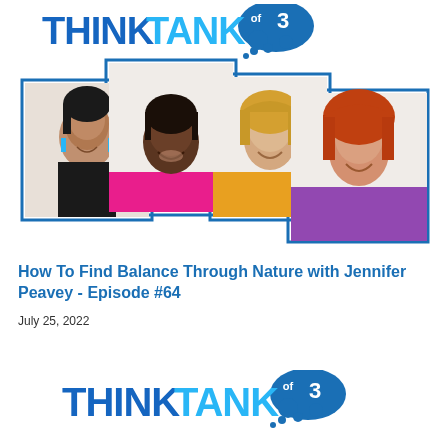[Figure (logo): ThinkTank of 3 logo with blue text and thought bubble cloud graphic]
[Figure (photo): Four women headshots in overlapping blue-bordered square frames: woman with dark hair and blue earrings, Black woman in pink smiling, blonde woman in yellow, red-haired woman in purple]
How To Find Balance Through Nature with Jennifer Peavey - Episode #64
July 25, 2022
[Figure (logo): ThinkTank of 3 logo with blue text and thought bubble cloud graphic (repeated at bottom)]